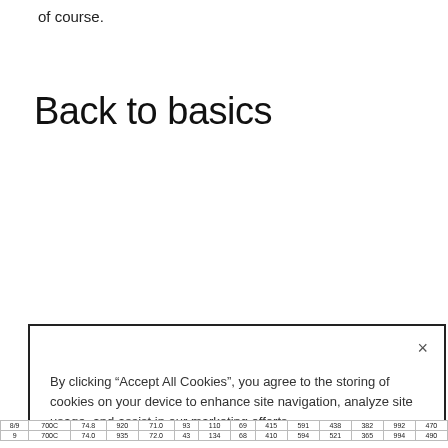of course.
Back to basics
[Figure (screenshot): Cookie consent modal dialog with close button (×), text 'By clicking "Accept All Cookies", you agree to the storing of cookies on your device to enhance site navigation, analyze site usage, and assist in our marketing efforts.', a black 'Accept All Cookies' button, and a cyan 'Cookies Settings' link.]
| 8/9 | 700C | 74.8 | 920 | 71.0 | 93 | 110 | 69 | 415 | 591 | 438 | 382 | 992 | 470 |
| 9 | 700C | 74.0 | 935 | 72.0 | 43 | 134 | 68 | 410 | 594 | 521 | 365 | 994 | 490 |